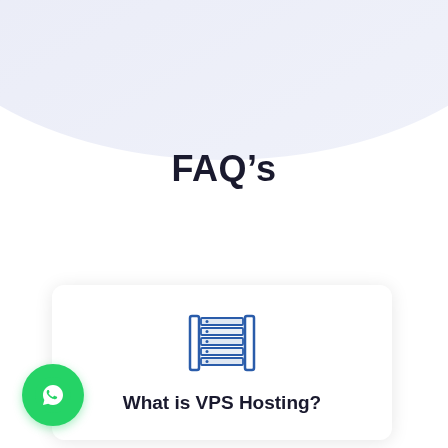[Figure (illustration): Light blue/lavender decorative arc shape at the top of the page background]
FAQ's
[Figure (illustration): Blue server/database stack icon inside a white card]
What is VPS Hosting?
[Figure (illustration): Green WhatsApp button icon at the bottom left corner]